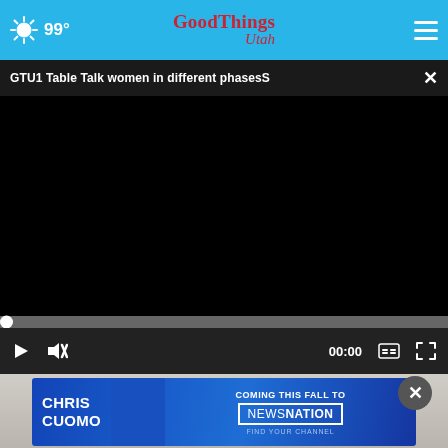99° Good Things Utah
GTU1 Table Talk women in different phasesS
[Figure (screenshot): Black video player area showing a paused/unloaded video with a progress bar at the bottom and playback controls including play button, mute button, time display showing 00:00, captions button, and fullscreen button.]
[Figure (photo): Partial view of a person's face below the video player, overlaid with an advertisement banner for Chris Cuomo Coming This Fall to NewsNation.]